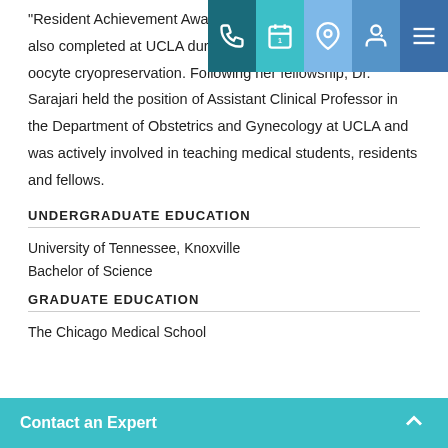“Resident Achievement Award” Award”. Her fellowship was also completed at UCLA during which she did research in oocyte cryopreservation. Following her fellowship, Dr. Sarajari held the position of Assistant Clinical Professor in the Department of Obstetrics and Gynecology at UCLA and was actively involved in teaching medical students, residents and fellows.
UNDERGRADUATE EDUCATION
University of Tennessee, Knoxville
Bachelor of Science
GRADUATE EDUCATION
The Chicago Medical School
Contact an Expert